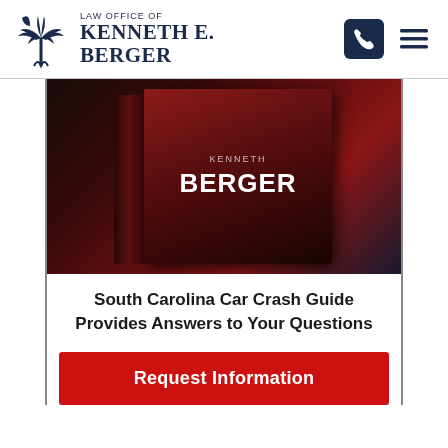[Figure (logo): Law Office of Kenneth E. Berger logo with South Carolina palmetto tree and crescent moon icon]
[Figure (photo): Book cover showing Kenneth Berger name on a dark red/maroon book with 3D perspective view]
South Carolina Car Crash Guide Provides Answers to Your Questions
Request Information